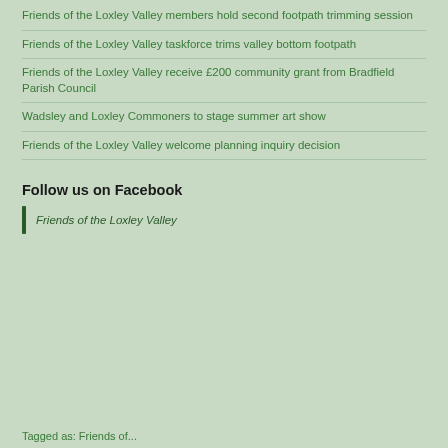Friends of the Loxley Valley members hold second footpath trimming session
Friends of the Loxley Valley taskforce trims valley bottom footpath
Friends of the Loxley Valley receive £200 community grant from Bradfield Parish Council
Wadsley and Loxley Commoners to stage summer art show
Friends of the Loxley Valley welcome planning inquiry decision
Follow us on Facebook
Friends of the Loxley Valley
Tagged as: Friends of...